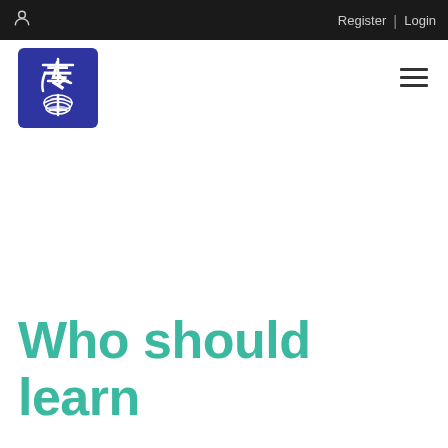Register | Login
[Figure (logo): Blue square logo with white Chinese calligraphy characters and decorative fish/plant motif]
Who should learn